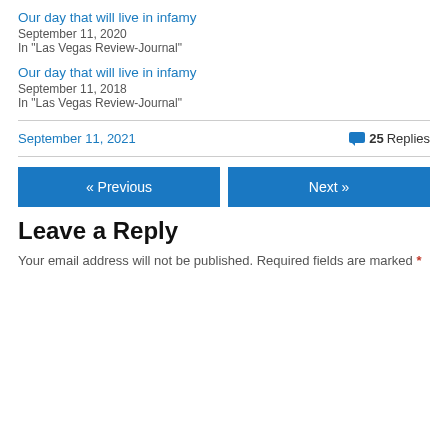Our day that will live in infamy
September 11, 2020
In "Las Vegas Review-Journal"
Our day that will live in infamy
September 11, 2018
In "Las Vegas Review-Journal"
September 11, 2021   💬 25 Replies
« Previous   Next »
Leave a Reply
Your email address will not be published. Required fields are marked *